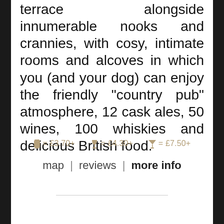terrace alongside innumerable nooks and crannies, with cosy, intimate rooms and alcoves in which you (and your dog) can enjoy the friendly "country pub" atmosphere, 12 cask ales, 50 wines, 100 whiskies and delicious British food.
🍺 = £3.70+   🍷 = £4.30+   🍸 = £7.50+
map | reviews | more info